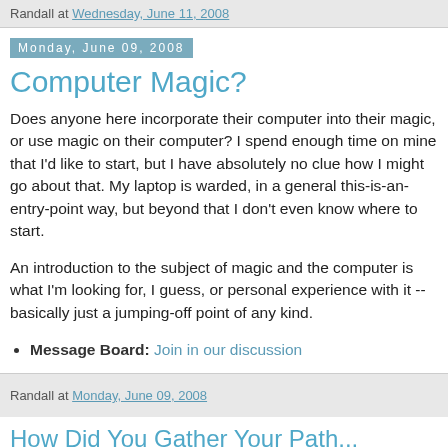Randall at Wednesday, June 11, 2008
Monday, June 09, 2008
Computer Magic?
Does anyone here incorporate their computer into their magic, or use magic on their computer? I spend enough time on mine that I'd like to start, but I have absolutely no clue how I might go about that. My laptop is warded, in a general this-is-an-entry-point way, but beyond that I don't even know where to start.
An introduction to the subject of magic and the computer is what I'm looking for, I guess, or personal experience with it -- basically just a jumping-off point of any kind.
Message Board: Join in our discussion
Randall at Monday, June 09, 2008
How Did You Gather Your Path...